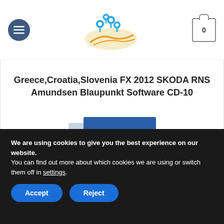Navigation website header with menu button, map logo, and cart icon showing 0
Greece,Croatia,Slovenia FX 2012 SKODA RNS Amundsen Blaupunkt Software CD-10
[Figure (photo): Product photo of a Bosch navigation software CD box with blue and white packaging]
We are using cookies to give you the best experience on our website.
You can find out more about which cookies we are using or switch them off in settings.
Accept  Reject